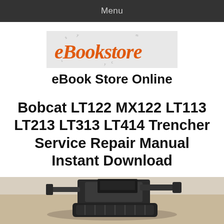Menu
[Figure (logo): eBookstore logo — stylized italic text reading 'eBookstore' in orange on a light gray background with decorative floating letters]
eBook Store Online
Bobcat LT122 MX122 LT113 LT213 LT313 LT414 Trencher Service Repair Manual Instant Download
[Figure (photo): Partial photo of a Bobcat trencher attachment, showing machinery on a ground surface, cropped at bottom of page]